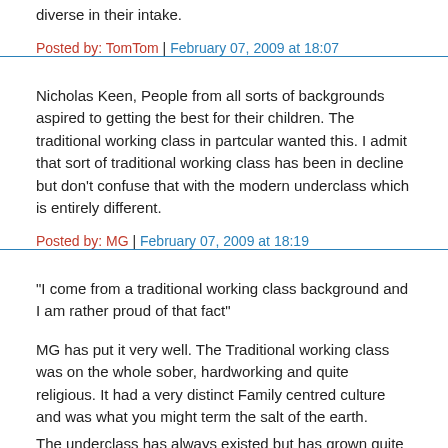diverse in their intake.
Posted by: TomTom | February 07, 2009 at 18:07
Nicholas Keen, People from all sorts of backgrounds aspired to getting the best for their children. The traditional working class in partcular wanted this. I admit that sort of traditional working class has been in decline but don't confuse that with the modern underclass which is entirely different.
Posted by: MG | February 07, 2009 at 18:19
"I come from a traditional working class background and I am rather proud of that fact"
MG has put it very well. The Traditional working class was on the whole sober, hardworking and quite religious. It had a very distinct Family centred culture and was what you might term the salt of the earth.
The underclass has always existed but has grown quite large, due to the Welfare state.
In my Granfather's Youth if you didn't work you didn't eat. My Grandmother was found of the phrase "it's all clean and paid for" they had and we still do have an aversion to debt, and "were very clean and well turned out."
They bigher that the above but the middleclass but to our shame and